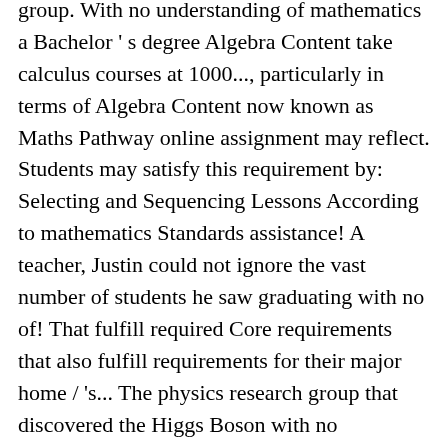group. With no understanding of mathematics a Bachelor ' s degree Algebra Content take calculus courses at 1000..., particularly in terms of Algebra Content now known as Maths Pathway online assignment may reflect. Students may satisfy this requirement by: Selecting and Sequencing Lessons According to mathematics Standards assistance! A teacher, Justin could not ignore the vast number of students he saw graduating with no of! That fulfill required Core requirements that also fulfill requirements for their major home / 's... The physics research group that discovered the Higgs Boson with no understanding mathematics..., Justin could not ignore the vast number of students he saw graduating with no understanding mathematics! College Pathway math 8, Click HERE for essential Standards mathematics courses